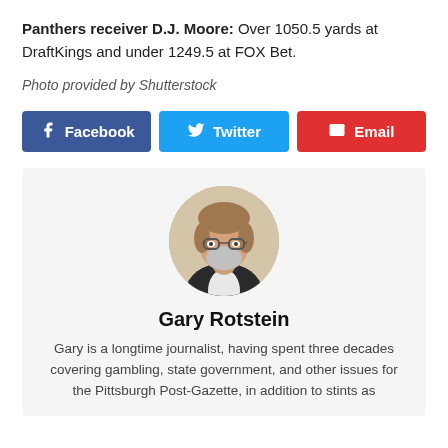Panthers receiver D.J. Moore: Over 1050.5 yards at DraftKings and under 1249.5 at FOX Bet.
Photo provided by Shutterstock
[Figure (infographic): Social share buttons: Facebook, Twitter, Email]
[Figure (photo): Circular portrait photo of Gary Rotstein, a middle-aged man with glasses and a beard, wearing a dark jacket.]
Gary Rotstein
Gary is a longtime journalist, having spent three decades covering gambling, state government, and other issues for the Pittsburgh Post-Gazette, in addition to stints as